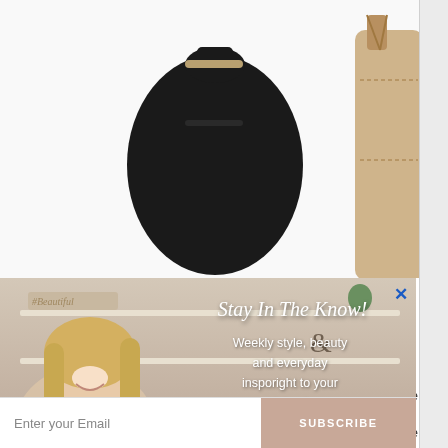[Figure (photo): Product photo of a black leather backpack on white background, partially visible at top left]
[Figure (photo): Product photo of a tan/nude leather handbag on white background, partially visible at top right]
[Figure (screenshot): Email subscription popup modal overlaying the page. Shows a smiling blonde woman sitting on a couch with pink pillows, with shelves and '#Beautiful' sign in background. Contains text 'Stay In The Know!' in cursive, 'Weekly style, beauty and everyday insporight to your inbox!', an email input field, and a SUBSCRIBE button. A blue X close button is at top right of modal.]
Enter your Email
SUBSCRIBE